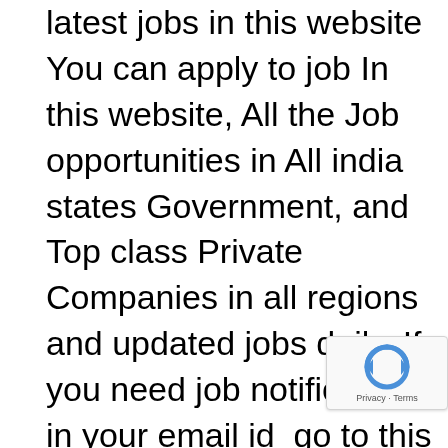latest jobs in this website You can apply to job In this website, All the Job opportunities in All india states Government, and Top class Private Companies in all regions and updated jobs daily, If you need job notifications in your email id  go to this website homage the subscribe the get government jobs in your email after subscribe conformation by your email after conformation by yours we will sent daily job updates in your email id We have  jobs for all studies like Post
[Figure (other): reCAPTCHA badge with Privacy and Terms links]